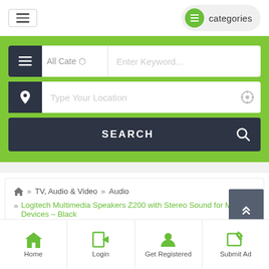[Figure (screenshot): Website header with hamburger menu button and categories button]
[Figure (screenshot): Green search area with category dropdown, keyword input, location input, and SEARCH button]
» TV, Audio & Video » Audio » Logitech Multimedia Speakers Z200 with Stereo Sound for Multiple Devices – Black
[Figure (screenshot): Bottom navigation bar with Home, Login, Get Registered, Submit Ad icons]